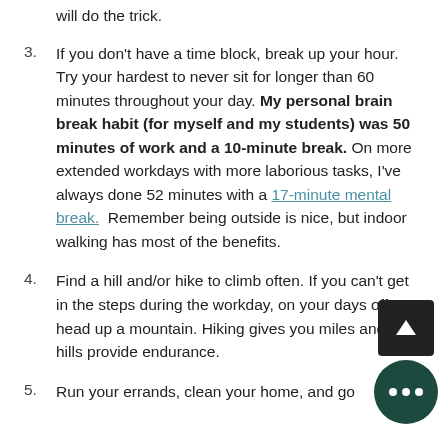will do the trick.
3. If you don't have a time block, break up your hour. Try your hardest to never sit for longer than 60 minutes throughout your day. My personal brain break habit (for myself and my students) was 50 minutes of work and a 10-minute break. On more extended workdays with more laborious tasks, I've always done 52 minutes with a 17-minute mental break. Remember being outside is nice, but indoor walking has most of the benefits.
4. Find a hill and/or hike to climb often. If you can't get in the steps during the workday, on your days off head up a mountain. Hiking gives you miles and the hills provide endurance.
5. Run your errands, clean your home, and go…